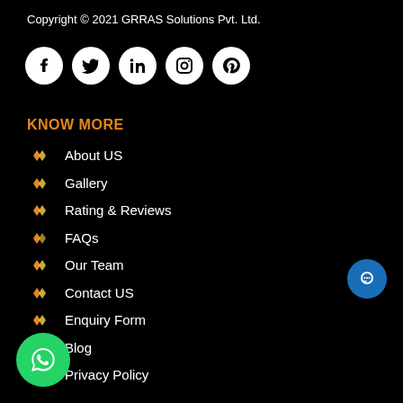Copyright © 2021 GRRAS Solutions Pvt. Ltd.
[Figure (illustration): Row of 5 social media icons (Facebook, Twitter, LinkedIn, Instagram, Pinterest) as white circles on black background]
KNOW MORE
About US
Gallery
Rating & Reviews
FAQs
Our Team
Contact US
Enquiry Form
Blog
Privacy Policy
[Figure (illustration): Blue circular chat button on right side]
[Figure (illustration): Green WhatsApp button on bottom left]